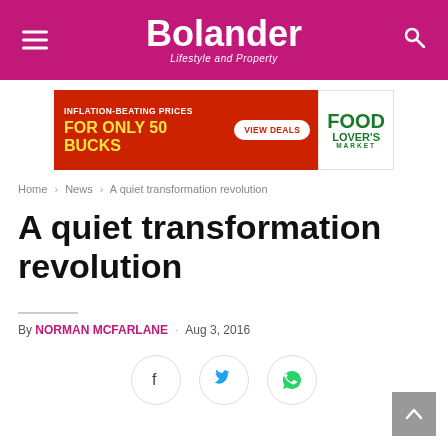Bolander — Lifestyle and Property
[Figure (infographic): Food Lover's Market advertisement banner: red background with text 'INFLATION-BEATING PRICES FOR ONLY 50 BUCKS' and a 'VIEW DEALS' button, plus the Food Lover's Market logo on white background]
Home > News > A quiet transformation revolution
A quiet transformation revolution
By NORMAN MCFARLANE  .  Aug 3, 2016
[Figure (infographic): Social share buttons: Facebook (f), Twitter (bird), WhatsApp icons in circular outlines]